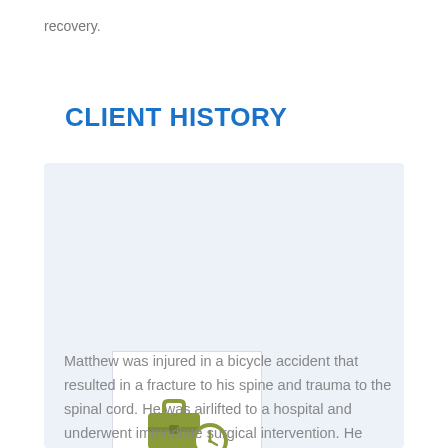recovery.
CLIENT HISTORY
[Figure (illustration): Icon of a briefcase with a clock overlay, colored in olive/yellow-green, inside a white box on a light blue-grey card background.]
Matthew was injured in a bicycle accident that resulted in a fracture to his spine and trauma to the spinal cord. He was airlifted to a hospital and underwent immediate surgical intervention. He remained in the hospital for several weeks following admission. He lost